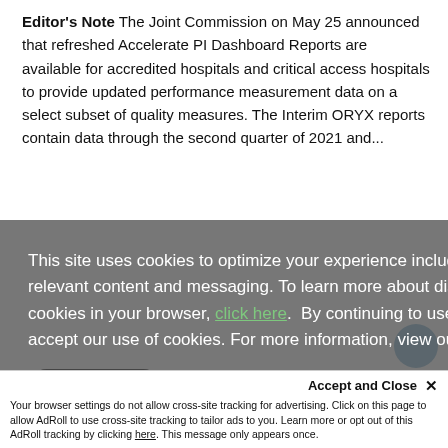Editor's Note The Joint Commission on May 25 announced that refreshed Accelerate PI Dashboard Reports are available for accredited hospitals and critical access hospitals to provide updated performance measurement data on a select subset of quality measures. The Interim ORYX reports contain data through the second quarter of 2021 and...
This site uses cookies to optimize your experience including more relevant content and messaging. To learn more about disabling cookies in your browser, click here. By continuing to use this site, you accept our use of cookies. For more information, view our updated Privacy Policy.
Read More
By: Judy Matthies    May 26 2022    Share
Accept and Close ✕
Your browser settings do not allow cross-site tracking for advertising. Click on this page to allow AdRoll to use cross-site tracking to tailor ads to you. Learn more or opt out of this AdRoll tracking by clicking here. This message only appears once.